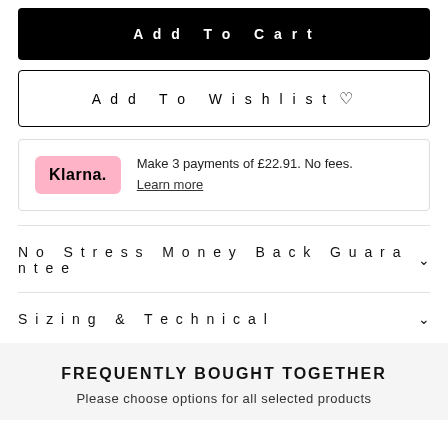Add To Cart
Add To Wishlist
Make 3 payments of £22.91. No fees. Learn more
No Stress Money Back Guarantee
Sizing & Technical
FREQUENTLY BOUGHT TOGETHER
Please choose options for all selected products